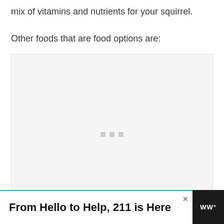mix of vitamins and nutrients for your squirrel.
Other foods that are food options are:
[Figure (other): Empty light gray placeholder box with three small gray squares in the center, indicating a loading or missing image area.]
From Hello to Help, 211 is Here